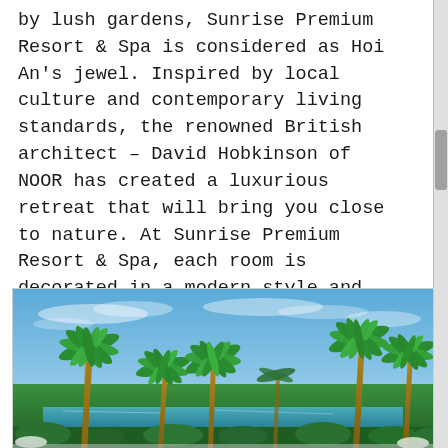by lush gardens, Sunrise Premium Resort & Spa is considered as Hoi An's jewel. Inspired by local culture and contemporary living standards, the renowned British architect – David Hobkinson of NOOR has created a luxurious retreat that will bring you close to nature. At Sunrise Premium Resort & Spa, each room is decorated in a modern style and livened up with warm wood furnishings and 5-star facilities. When you wake up early in the morning, walk through the stunning manicured gardens and stroll along the open-air walkways, you will experience the quintessential beauty of this premium resort.
[Figure (photo): Outdoor photo of a tropical resort with tall palm trees and lush greenery against a blue sky, likely the Sunrise Premium Resort & Spa in Hoi An.]